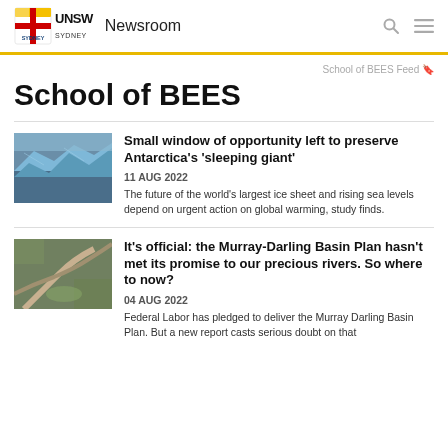UNSW Sydney Newsroom
School of BEES Feed
School of BEES
[Figure (photo): Aerial photo of Antarctic ice sheet / glaciers with blue ice formations]
Small window of opportunity left to preserve Antarctica's 'sleeping giant'
11 AUG 2022
The future of the world's largest ice sheet and rising sea levels depend on urgent action on global warming, study finds.
[Figure (photo): Aerial photo of Murray-Darling Basin river region with winding waterway and land]
It's official: the Murray-Darling Basin Plan hasn't met its promise to our precious rivers. So where to now?
04 AUG 2022
Federal Labor has pledged to deliver the Murray Darling Basin Plan. But a new report casts serious doubt on that